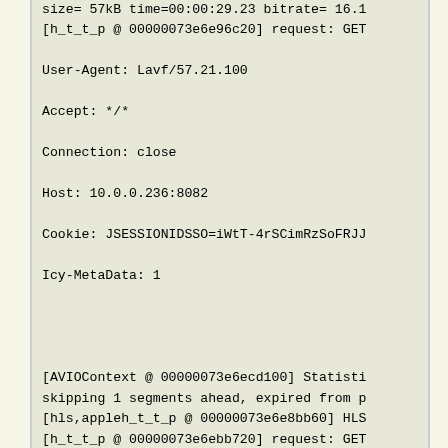size= 57kB time=00:00:29.23 bitrate= 16.1
[h_t_t_p @ 00000073e6e96c20] request: GET

User-Agent: Lavf/57.21.100

Accept: */*

Connection: close

Host: 10.0.0.236:8082

Cookie: JSESSIONIDSSO=iWtT-4rSCimRzSoFRJJ

Icy-MetaData: 1



[AVIOContext @ 00000073e6ecd100] Statisti
skipping 1 segments ahead, expired from p
[hls,appleh_t_t_p @ 00000073e6e8bb60] HLS
[h_t_t_p @ 00000073e6ebb720] request: GET

User-Agent: Lavf/57.21.100

Accept: */*

Connection: close

Host: 10.0.0.236:8082